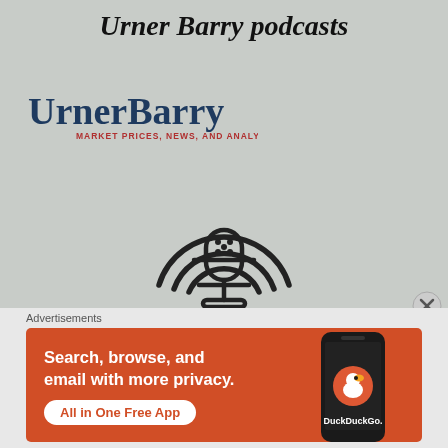Urner Barry podcasts
[Figure (logo): UrnerBarry logo — dark teal serif text 'UrnerBarry' with red subtitle 'MARKET PRICES, NEWS, AND ANALYSIS']
[Figure (illustration): Podcast microphone icon with radio wave arcs above it, drawn in dark outline style]
Advertisements
[Figure (screenshot): DuckDuckGo advertisement banner on orange/red background. Text: 'Search, browse, and email with more privacy. All in One Free App' with a phone showing the DuckDuckGo app.]